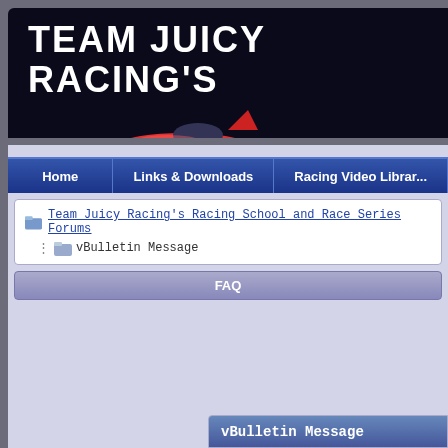[Figure (screenshot): Team Juicy Racing header banner with dark background, large white bold text 'TEAM JUICY RACING'S', a red racing car graphic, number '1', and italic script text 'racing ac...']
Home | Links & Downloads | Racing Video Librar...
Team Juicy Racing's Racing School and Race Series Forums > vBulletin Message
FAQ
vBulletin Message
You are not logged in or you do not have permissio...
1. You are not logged in. Fill in the form at the bottom of this page and try again. You can view or post on the Forums. Click on th...
2. You may not have sufficient privileges to access this page. Are you trying to edit someone else's post, access administrative features or some other privileged system?
3. If you are trying to post, the administrator...
Log in